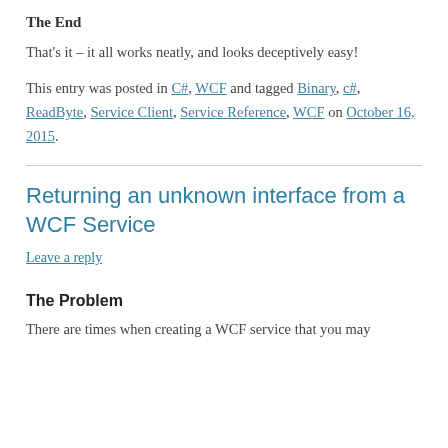The End
That's it – it all works neatly, and looks deceptively easy!
This entry was posted in C#, WCF and tagged Binary, c#, ReadByte, Service Client, Service Reference, WCF on October 16, 2015.
Returning an unknown interface from a WCF Service
Leave a reply
The Problem
There are times when creating a WCF service that you may